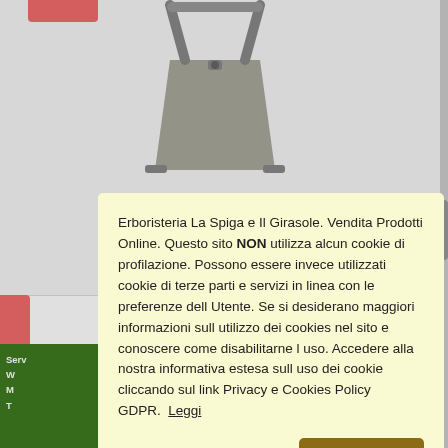[Figure (screenshot): Website product page for Erboristeria La Spiga e Il Girasole showing handbag product images with red promotional badges and a green service banner, partially obscured by a cookie consent modal dialog]
Erboristeria La Spiga e Il Girasole. Vendita Prodotti Online. Questo sito NON utilizza alcun cookie di profilazione. Possono essere invece utilizzati cookie di terze parti e servizi in linea con le preferenze dell Utente. Se si desiderano maggiori informazioni sull utilizzo dei cookies nel sito e conoscere come disabilitarne l uso. Accedere alla nostra informativa estesa sull uso dei cookie cliccando sul link Privacy e Cookies Policy GDPR.  Leggi
Rifiuta
Chiudi